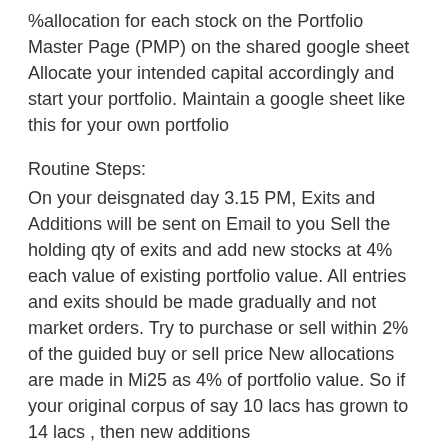%allocation for each stock on the Portfolio Master Page (PMP) on the shared google sheet Allocate your intended capital accordingly and start your portfolio. Maintain a google sheet like this for your own portfolio
Routine Steps:
On your deisgnated day 3.15 PM, Exits and Additions will be sent on Email to you Sell the holding qty of exits and add new stocks at 4% each value of existing portfolio value. All entries and exits should be made gradually and not market orders. Try to purchase or sell within 2% of the guided buy or sell price New allocations are made in Mi25 as 4% of portfolio value. So if your original corpus of say 10 lacs has grown to 14 lacs , then new additions